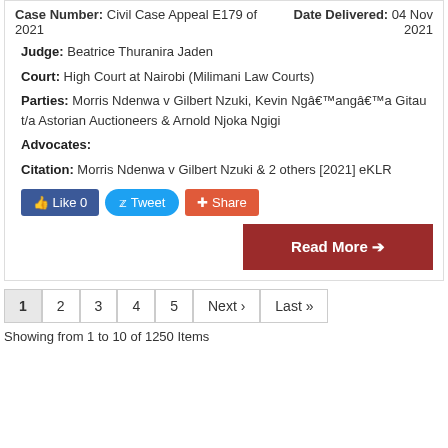Case Number: Civil Case Appeal E179 of 2021 | Date Delivered: 04 Nov 2021
Judge: Beatrice Thuranira Jaden
Court: High Court at Nairobi (Milimani Law Courts)
Parties: Morris Ndenwa v Gilbert Nzuki, Kevin Ngâ€™angâ€™a Gitau t/a Astorian Auctioneers & Arnold Njoka Ngigi
Advocates:
Citation: Morris Ndenwa v Gilbert Nzuki & 2 others [2021] eKLR
Showing from 1 to 10 of 1250 Items